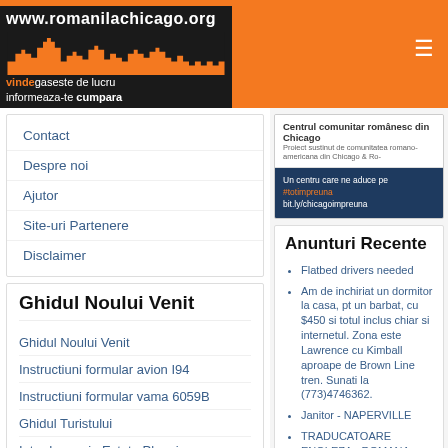www.romanilachicago.org
[Figure (logo): Romanian Chicago community website logo with dark skyline silhouette and orange background. Tagline: vinde gaseste de lucru informeaza-te cumpara]
Contact
Despre noi
Ajutor
Site-uri Partenere
Disclaimer
Ghidul Noului Venit
Ghidul Noului Venit
Instructiuni formular avion I94
Instructiuni formular vama 6059B
Ghidul Turistului
Introducere in Estate Planning
Intrebari si Raspunsuri*
Examen Permis Auto
Creditul si Scorul
[Figure (screenshot): Centrul comunitar romanesc din Chicago banner with dark blue bottom section showing #totimpreuna bit.ly/chicagoimpreuna]
Anunturi Recente
Flatbed drivers needed
Am de inchiriat un dormitor la casa, pt un barbat, cu $450 si totul inclus chiar si internetul. Zona este Lawrence cu Kimball aproape de Brown Line tren. Sunati la (773)4746362.
Janitor - NAPERVILLE
TRADUCATOARE ENGLEZA - ROMANA, ROMANA-ENGLEZA
PROFESOARA DE ENGLEZA SI SPANIOLA
PROFESOARA DE ENGLEZA SI SPANIOLA
Job LIVE IN !!!